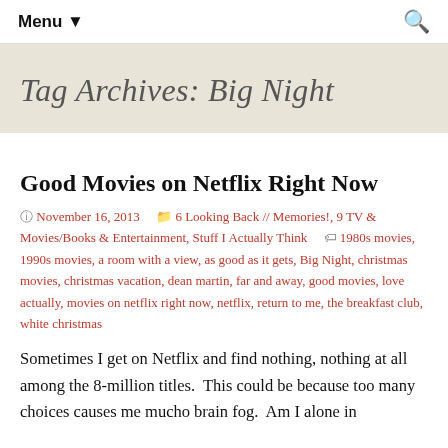Menu ▾  🔍
Tag Archives: Big Night
Good Movies on Netflix Right Now
November 16, 2013  6 Looking Back // Memories!, 9 TV & Movies/Books & Entertainment, Stuff I Actually Think  1980s movies, 1990s movies, a room with a view, as good as it gets, Big Night, christmas movies, christmas vacation, dean martin, far and away, good movies, love actually, movies on netflix right now, netflix, return to me, the breakfast club, white christmas
Sometimes I get on Netflix and find nothing, nothing at all among the 8-million titles.  This could be because too many choices causes me mucho brain fog.  Am I alone in